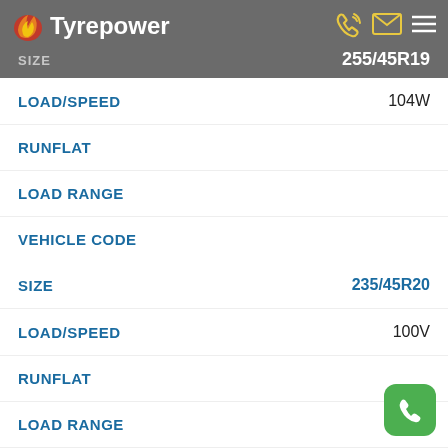Tyrepower — SIZE 255/45R19
| Field | Value |
| --- | --- |
| LOAD/SPEED | 104W |
| RUNFLAT |  |
| LOAD RANGE |  |
| VEHICLE CODE |  |
| TECHNOLOGY | (ACOUSTIC) |
| Field | Value |
| --- | --- |
| SIZE | 235/45R20 |
| LOAD/SPEED | 100V |
| RUNFLAT |  |
| LOAD RANGE |  |
| VEHICLE CODE |  |